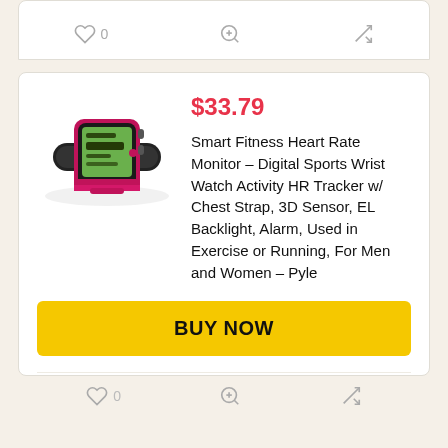[Figure (screenshot): Partial top card with action icons: heart/0, zoom, shuffle]
[Figure (photo): Pink and black Pyle smart fitness heart rate monitor watch with chest strap]
$33.79
Smart Fitness Heart Rate Monitor – Digital Sports Wrist Watch Activity HR Tracker w/ Chest Strap, 3D Sensor, EL Backlight, Alarm, Used in Exercise or Running, For Men and Women – Pyle
BUY NOW
0
0